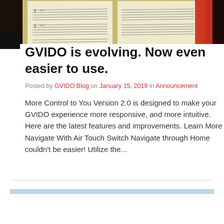[Figure (photo): A photograph showing music sheets/scores on a piano or music stand, with warm amber and dark tones in the background.]
GVIDO is evolving. Now even easier to use.
Posted by GVIDO Blog on January 15, 2019 in Announcement
More Control to You Version 2.0 is designed to make your GVIDO experience more responsive, and more intuitive. Here are the latest features and improvements. Learn More Navigate With Air Touch Switch Navigate through Home couldn't be easier! Utilize the...